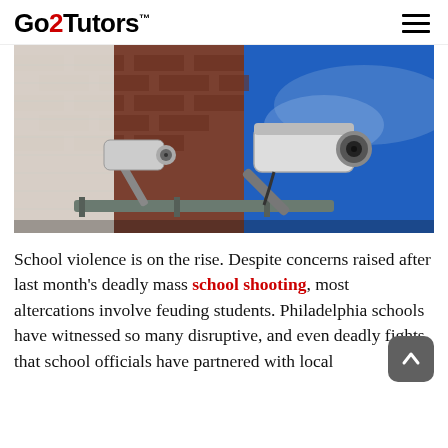Go2Tutors™
[Figure (photo): Security cameras mounted on the corner of a brick building against a blue sky]
School violence is on the rise. Despite concerns raised after last month's deadly mass school shooting, most altercations involve feuding students. Philadelphia schools have witnessed so many disruptive, and even deadly fights, that school officials have partnered with local police and city leaders to look after children that